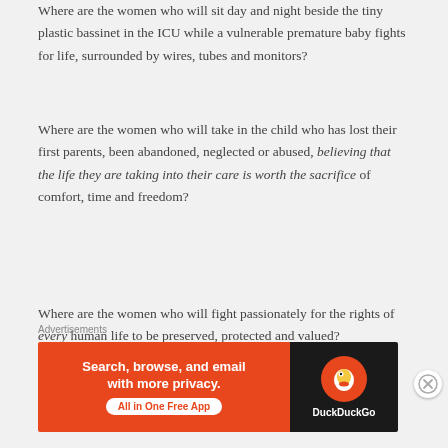Where are the women who will sit day and night beside the tiny plastic bassinet in the ICU while a vulnerable premature baby fights for life, surrounded by wires, tubes and monitors?
Where are the women who will take in the child who has lost their first parents, been abandoned, neglected or abused, believing that the life they are taking into their care is worth the sacrifice of comfort, time and freedom?
Where are the women who will fight passionately for the rights of every human life to be preserved, protected and valued?
Advertisements
[Figure (other): DuckDuckGo advertisement banner with orange background on left reading 'Search, browse, and email with more privacy. All in One Free App' and dark right panel with DuckDuckGo logo and name.]